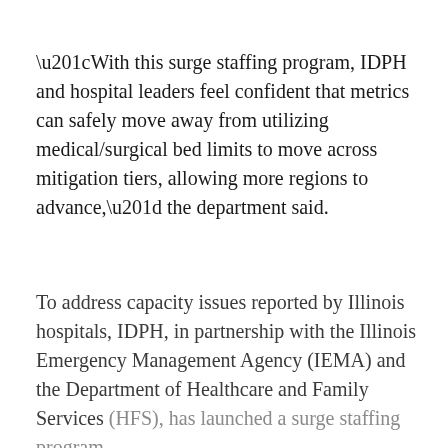“With this surge staffing program, IDPH and hospital leaders feel confident that metrics can safely move away from utilizing medical/surgical bed limits to move across mitigation tiers, allowing more regions to advance,” the department said.
To address capacity issues reported by Illinois hospitals, IDPH, in partnership with the Illinois Emergency Management Agency (IEMA) and the Department of Healthcare and Family Services (HFS), has launched a surge staffing program.